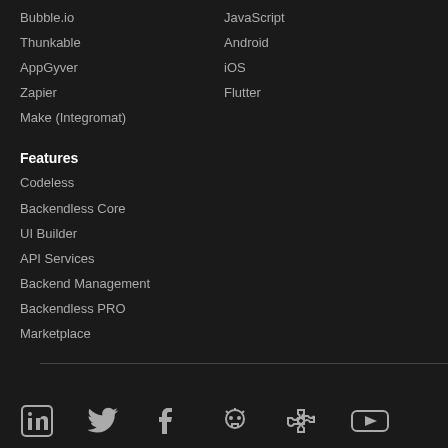Bubble.io
JavaScript
Thunkable
Android
AppGyver
iOS
Zapier
Flutter
Make (Integromat)
Features
Codeless
Backendless Core
UI Builder
API Services
Backend Management
Backendless PRO
Marketplace
[Figure (illustration): Row of social media icons: LinkedIn, Twitter, Facebook, GitHub (skull), hashtag/puzzle, YouTube]